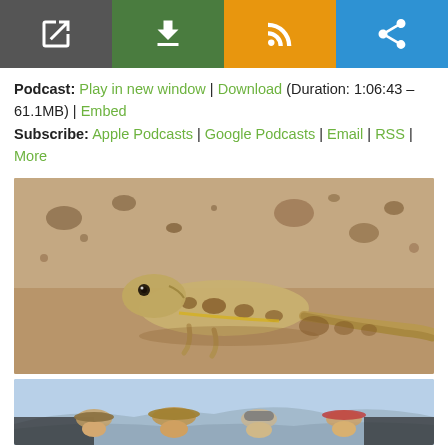[Figure (screenshot): Toolbar with four icon buttons: external link (gray), download (green), RSS feed (orange), share (blue)]
Podcast: Play in new window | Download (Duration: 1:06:43 – 61.1MB) | Embed
Subscribe: Apple Podcasts | Google Podcasts | Email | RSS | More
[Figure (photo): Close-up photo of a desert lizard (possibly a horned lizard or similar species) resting on sandy ground with small rocks]
[Figure (photo): Group of people standing outdoors with mountains in background, wearing hats and sunglasses]